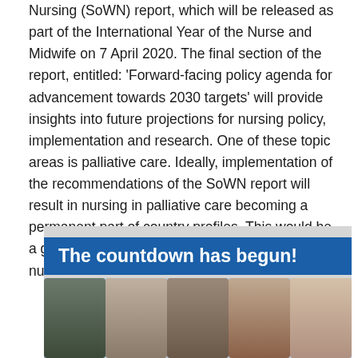Nursing (SoWN) report, which will be released as part of the International Year of the Nurse and Midwife on 7 April 2020. The final section of the report, entitled: 'Forward-facing policy agenda for advancement towards 2030 targets' will provide insights into future projections for nursing policy, implementation and research. One of these topic areas is palliative care. Ideally, implementation of the recommendations of the SoWN report will result in nursing in palliative care becoming a permanent part of country profiles. This would be a great help to monitor the developments in nurse-led palliative care practice.
[Figure (photo): Promotional banner image with text 'The countdown has begun!' in white on blue background, with a photograph of five diverse healthcare professionals (nurses) smiling.]